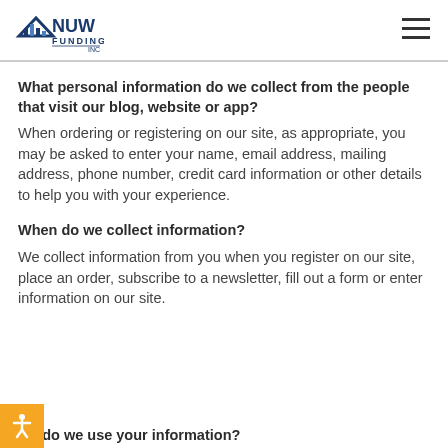NUW Funding
What personal information do we collect from the people that visit our blog, website or app?
When ordering or registering on our site, as appropriate, you may be asked to enter your name, email address, mailing address, phone number, credit card information or other details to help you with your experience.
When do we collect information?
We collect information from you when you register on our site, place an order, subscribe to a newsletter, fill out a form or enter information on our site.
How do we use your information?